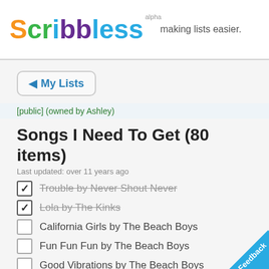[Figure (logo): Scribbless alpha logo with colorful letters and tagline 'making lists easier.']
◀ My Lists
[public] (owned by Ashley)
Songs I Need To Get (80 items)
Last updated: over 11 years ago
Trouble by Never Shout Never [checked, strikethrough]
Lola by The Kinks [checked, strikethrough]
California Girls by The Beach Boys
Fun Fun Fun by The Beach Boys
Good Vibrations by The Beach Boys
[Figure (other): Feedback ribbon in bottom right corner]